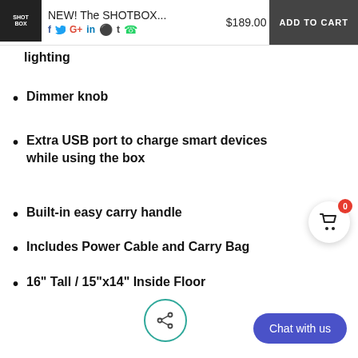NEW! The SHOTBOX... $189.00 ADD TO CART
lighting
Dimmer knob
Extra USB port to charge smart devices while using the box
Built-in easy carry handle
Includes Power Cable and Carry Bag
16" Tall / 15"x14" Inside Floor